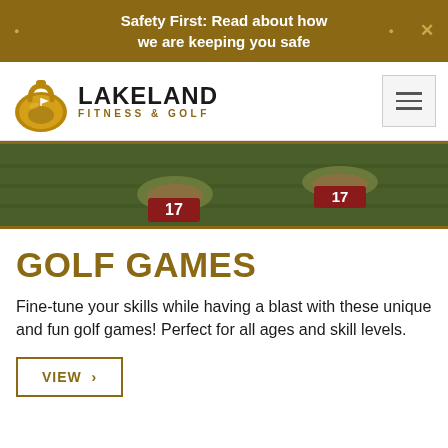Safety First: Read about how we are keeping you safe
[Figure (logo): Lakeland Fitness & Golf logo with kettlebell and golf flag icon]
[Figure (photo): Close-up of a golf green with two holes numbered 17]
GOLF GAMES
Fine-tune your skills while having a blast with these unique and fun golf games! Perfect for all ages and skill levels.
VIEW ›